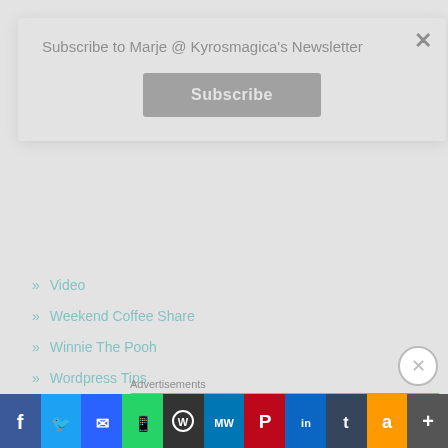Subscribe to Marje @ Kyrosmagica's Newsletter
Subscribe
Video
Weekend Coffee Share
Winnie The Pooh
Wordpress Tips
World Naked Bike Ride
Writing Advice
Writing and Blogging
YA
Advertisements
[Figure (infographic): Green advertisement banner]
[Figure (infographic): Social share bar with Facebook, Twitter, Email, WhatsApp, WordPress, MeWe, Pinterest, LinkedIn, Tumblr, Amazon, and More buttons]